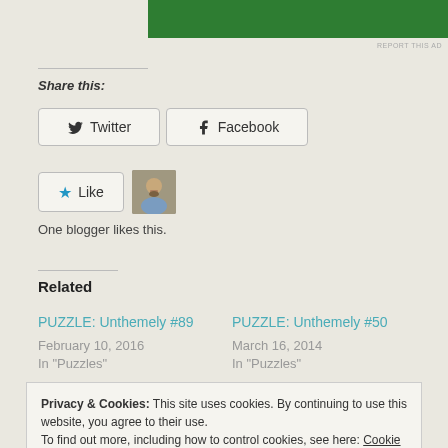[Figure (other): Green advertisement banner at top of page]
REPORT THIS AD
Share this:
Twitter
Facebook
Like
[Figure (photo): Small avatar photo of a blogger]
One blogger likes this.
Related
PUZZLE: Unthemely #89
February 10, 2016
In "Puzzles"
PUZZLE: Unthemely #50
March 16, 2014
In "Puzzles"
Privacy & Cookies: This site uses cookies. By continuing to use this website, you agree to their use.
To find out more, including how to control cookies, see here: Cookie Policy
Close and accept